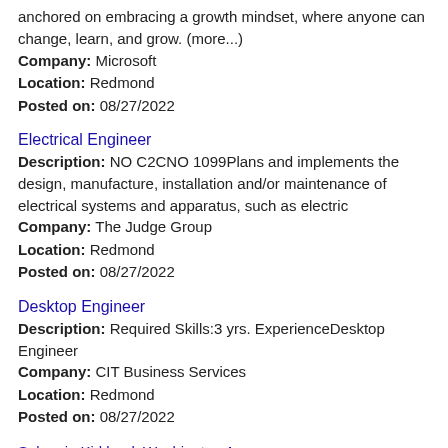anchored on embracing a growth mindset, where anyone can change, learn, and grow. (more...)
Company: Microsoft
Location: Redmond
Posted on: 08/27/2022
Electrical Engineer
Description: NO C2CNO 1099Plans and implements the design, manufacture, installation and/or maintenance of electrical systems and apparatus, such as electric
Company: The Judge Group
Location: Redmond
Posted on: 08/27/2022
Desktop Engineer
Description: Required Skills:3 yrs. ExperienceDesktop Engineer
Company: CIT Business Services
Location: Redmond
Posted on: 08/27/2022
Salary in Kirkland, Washington Area | More details for Kirkland, Washington Jobs |Salary
Principal Medical Writer